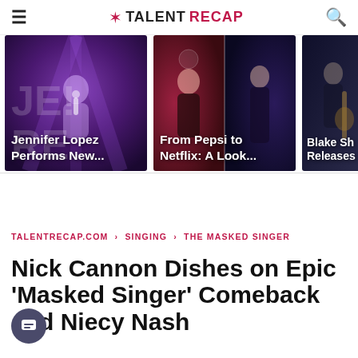TALENT RECAP
[Figure (photo): Three image cards in a horizontal strip: (1) Jennifer Lopez performing on stage in purple lighting, (2) From Pepsi to Netflix: A Look... showing two women in a split image, (3) Blake Shelton releases... partial image of a musician]
TALENTRECAP.COM › SINGING › THE MASKED SINGER
Nick Cannon Dishes on Epic 'Masked Singer' Comeback and Niecy Nash